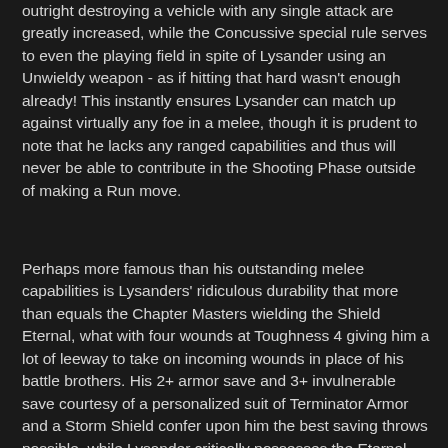outright destroying a vehicle with any single attack are greatly increased, while the Concussive special rule serves to even the playing field in spite of Lysander using an Unwieldy weapon - as if hitting that hard wasn't enough already! This instantly ensures Lysander can match up against virtually any foe in a melee, though it is prudent to note that he lacks any ranged capabilities and thus will never be able to contribute in the Shooting Phase outside of making a Run move.
Perhaps more famous than his outstanding melee capabilities is Lysanders' ridiculous durability that more than equals the Chapter Masters wielding the Shield Eternal, what with four wounds at Toughness 4 giving him a lot of leeway to take on incoming wounds in place of his battle brothers. His 2+ armor save and 3+ invulnerable save courtesy of a personalized suit of Terminator Armor and a Storm Shield confer upon him the best saving throws possible, while Lysander critically possesses the Eternal Warrior special rule. As if this wasn't enough, Lysander even utilizes the Feel No Pain special rule provided by his preset Warlord Trait aptly titled Iron Resolve, a fitting description for a true Son of